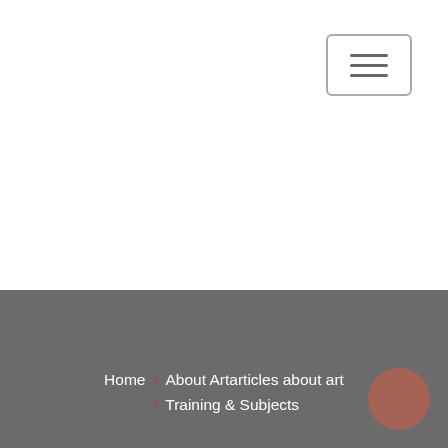[Figure (screenshot): Hamburger menu button icon with three horizontal lines in a rounded rectangle border]
Home / About Artarticles about art / Training & Subjects